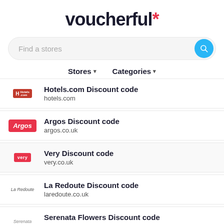voucherful*
Find a stores
Stores ▾   Categories ▾
Hotels.com Discount code
hotels.com
Argos Discount code
argos.co.uk
Very Discount code
very.co.uk
La Redoute Discount code
laredoute.co.uk
Serenata Flowers Discount code
serenataflowers.com